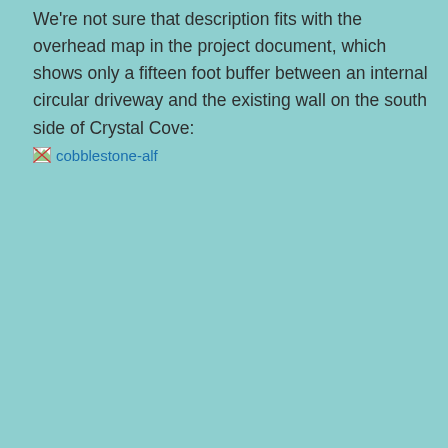We're not sure that description fits with the overhead map in the project document, which shows only a fifteen foot buffer between an internal circular driveway and the existing wall on the south side of Crystal Cove:
[Figure (other): Broken image placeholder with alt text 'cobblestone-alf' shown as a browser broken-image icon followed by the filename as a link]